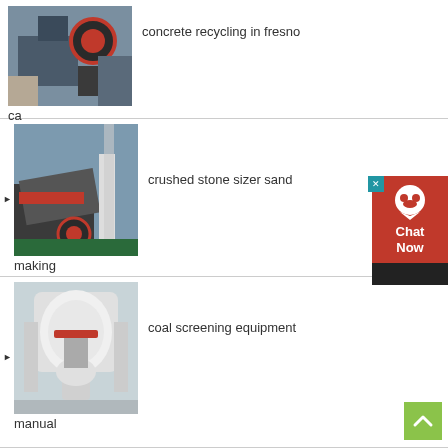[Figure (photo): Industrial machinery/jaw crusher in factory setting]
concrete recycling in fresno
ca
[Figure (photo): Impact crusher machine in factory setting]
crushed stone sizer sand
making
[Figure (photo): White cone crusher / screening equipment in factory]
coal screening equipment
manual